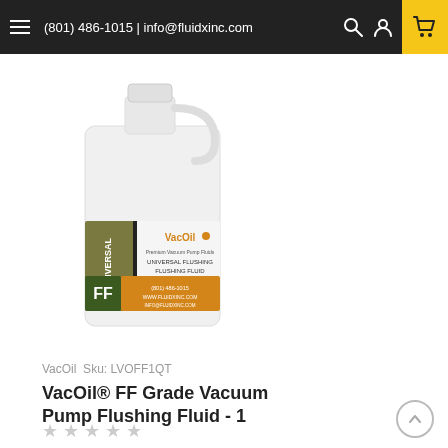(801) 486-1015 | info@fluidxinc.com
[Figure (photo): White plastic jug/bottle of VacOil FF Grade Vacuum Pump Flushing Fluid (1 quart) with olive green and gold label showing 'FF' designation and VacOil branding]
VacOil  Sku: LVOFF1QT
VacOil® FF Grade Vacuum Pump Flushing Fluid - 1
★★★★★
$6.00